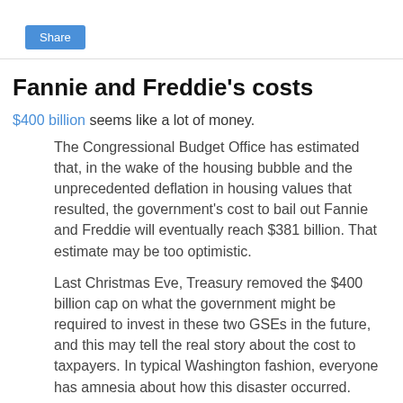[Figure (screenshot): Share button — blue rounded rectangle with white text 'Share']
Fannie and Freddie's costs
$400 billion seems like a lot of money.
The Congressional Budget Office has estimated that, in the wake of the housing bubble and the unprecedented deflation in housing values that resulted, the government's cost to bail out Fannie and Freddie will eventually reach $381 billion. That estimate may be too optimistic.
Last Christmas Eve, Treasury removed the $400 billion cap on what the government might be required to invest in these two GSEs in the future, and this may tell the real story about the cost to taxpayers. In typical Washington fashion, everyone has amnesia about how this disaster occurred.